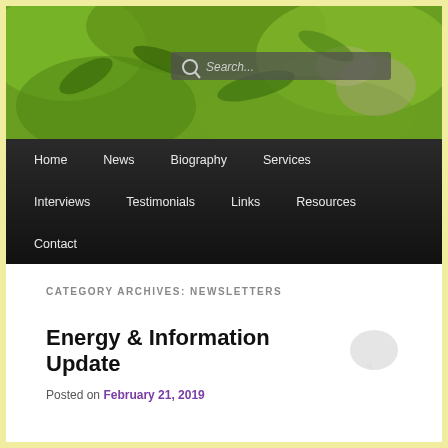[Figure (photo): Green leaves nature background with search bar overlay]
Home | News | Biography | Services | Interviews | Testimonials | Links | Resources | Contact
CATEGORY ARCHIVES: NEWSLETTERS
Energy & Information Update
Posted on February 21, 2019